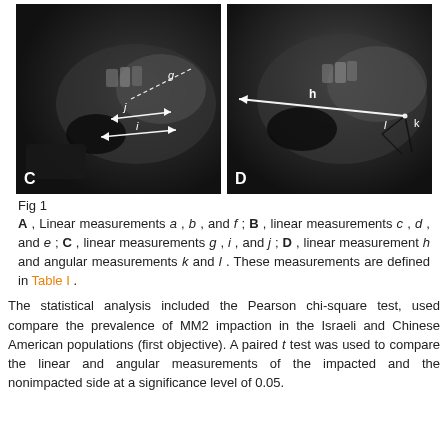[Figure (photo): Two side-by-side dental X-ray images labeled C and D. Image C shows linear measurements g, i, and j annotated with white arrows and dotted lines on a panoramic radiograph of the jaw. Image D shows linear measurement h (a long white line) and angular measurements k and l annotated on a panoramic radiograph of the jaw.]
Fig 1
A , Linear measurements a , b , and f ; B , linear measurements c , d , and e ; C , linear measurements g , i , and j ; D , linear measurement h and angular measurements k and l . These measurements are defined in Table I .
The statistical analysis included the Pearson chi-square test, used compare the prevalence of MM2 impaction in the Israeli and Chinese American populations (first objective). A paired t test was used to compare the linear and angular measurements of the impacted and the nonimpacted side at a significance level of 0.05.